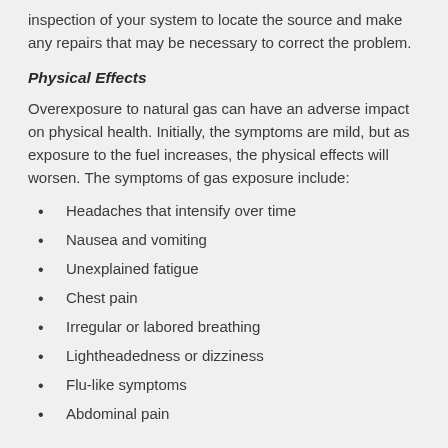inspection of your system to locate the source and make any repairs that may be necessary to correct the problem.
Physical Effects
Overexposure to natural gas can have an adverse impact on physical health. Initially, the symptoms are mild, but as exposure to the fuel increases, the physical effects will worsen. The symptoms of gas exposure include:
Headaches that intensify over time
Nausea and vomiting
Unexplained fatigue
Chest pain
Irregular or labored breathing
Lightheadedness or dizziness
Flu-like symptoms
Abdominal pain